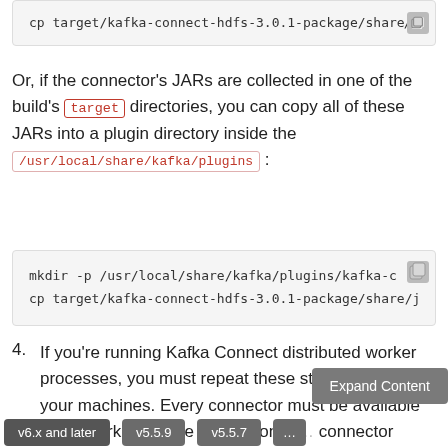cp target/kafka-connect-hdfs-3.0.1-package/share/j
Or, if the connector's JARs are collected in one of the build's target directories, you can copy all of these JARs into a plugin directory inside the /usr/local/share/kafka/plugins :
mkdir -p /usr/local/share/kafka/plugins/kafka-c
cp target/kafka-connect-hdfs-3.0.1-package/share/j
4. If you're running Kafka Connect distributed worker processes, you must repeat these steps on all of your machines. Every connector must be available on all workers, since Kafka Connect may assign connector tasks to any...